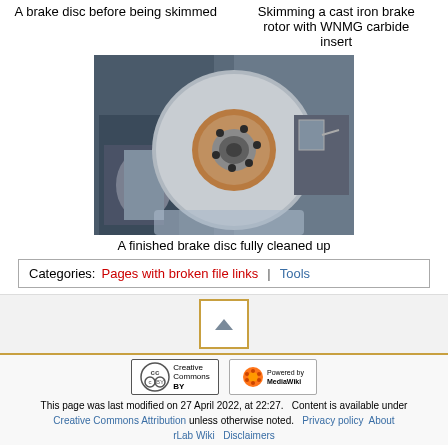A brake disc before being skimmed
Skimming a cast iron brake rotor with WNMG carbide insert
[Figure (photo): A finished brake disc mounted on a lathe machine, shown fully cleaned up]
A finished brake disc fully cleaned up
Categories: Pages with broken file links | Tools
This page was last modified on 27 April 2022, at 22:27. Content is available under Creative Commons Attribution unless otherwise noted. Privacy policy About rLab Wiki Disclaimers